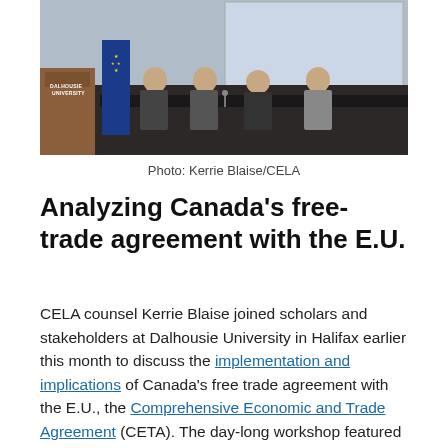[Figure (photo): Panel discussion at Dalhousie University in Halifax. Several people seated at a table on a stage, with a lectern on the left bearing a Dalhousie University sign and a blue EU-themed banner beside it. A projection screen is visible in the background.]
Photo: Kerrie Blaise/CELA
Analyzing Canada’s free-trade agreement with the E.U.
CELA counsel Kerrie Blaise joined scholars and stakeholders at Dalhousie University in Halifax earlier this month to discuss the implementation and implications of Canada’s free trade agreement with the E.U., the Comprehensive Economic and Trade Agreement (CETA). The day-long workshop featured experts discussing investor rights and disputes, public services, labour mobility, and the environment. CELA